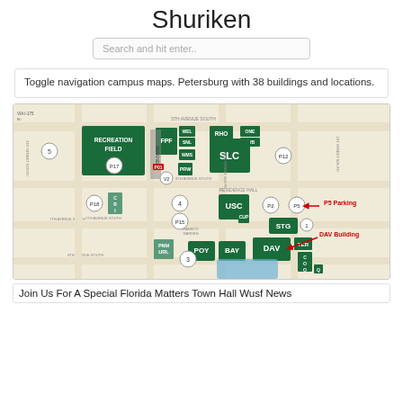Shuriken
Search and hit enter..
Toggle navigation campus maps. Petersburg with 38 buildings and locations.
[Figure (map): Campus map of St. Petersburg campus showing buildings including Recreation Field, FPF, SLC, USC, STG, DAV, BAY, POY, and parking areas P2, P5, P12, P15, P17, P18. Annotations point to P5 Parking and DAV Building with red arrows.]
Join Us For A Special Florida Matters Town Hall Wusf News